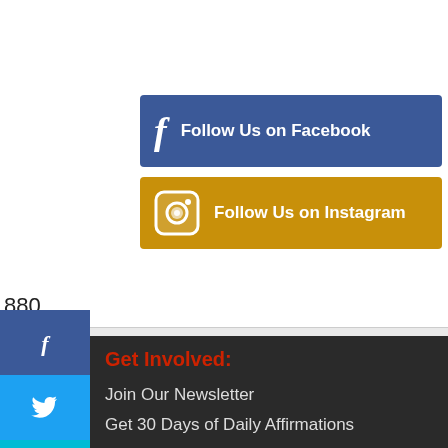[Figure (screenshot): Facebook Follow Us button — blue rectangle with Facebook 'f' icon and text 'Follow Us on Facebook' in white bold]
[Figure (screenshot): Instagram Follow Us button — golden/amber rectangle with Instagram camera icon and text 'Follow Us on Instagram' in white bold]
880
[Figure (screenshot): Vertical social sharing sidebar with four buttons: Facebook (dark blue), Twitter (blue), Print/Printer (cyan), Email (gray)]
Get Involved:
Join Our Newsletter
Get 30 Days of Daily Affirmations